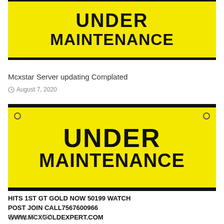[Figure (photo): Yellow 'UNDER MAINTENANCE' sign with black text and thick black border at bottom, partially cropped at top]
Mcxstar Server updating Complated
August 7, 2020
[Figure (photo): Yellow 'UNDER MAINTENANCE' sign with black text, two bolt holes at top corners, and thick black border at bottom]
HITS 1ST GT GOLD NOW 50199 WATCH POST JOIN CALL7567600966 WWW.MCXGOLDEXPERT.COM
July 22, 2020